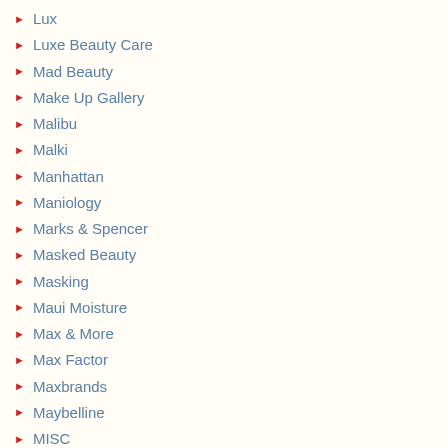Lux
Luxe Beauty Care
Mad Beauty
Make Up Gallery
Malibu
Malki
Manhattan
Maniology
Marks & Spencer
Masked Beauty
Masking
Maui Moisture
Max & More
Max Factor
Maxbrands
Maybelline
MISC
Miss Beauty London
Miss Sporty
Mitomo